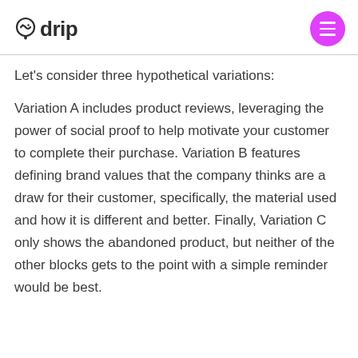drip
Let’s consider three hypothetical variations:
Variation A includes product reviews, leveraging the power of social proof to help motivate your customer to complete their purchase. Variation B features defining brand values that the company thinks are a draw for their customer, specifically, the material used and how it is different and better. Finally, Variation C only shows the abandoned product, but neither of the other blocks gets to the point with a simple reminder would be best.